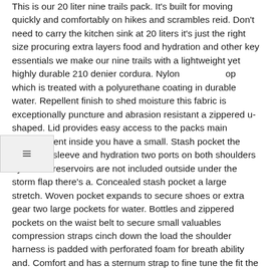This is our 20 liter nine trails pack. It's built for moving quickly and comfortably on hikes and scrambles reid. Don't need to carry the kitchen sink at 20 liters it's just the right size procuring extra layers food and hydration and other key essentials we make our nine trails with a lightweight yet highly durable 210 denier cordura. Nylon op which is treated with a polyurethane coating in durable water. Repellent finish to shed moisture this fabric is exceptionally puncture and abrasion resistant a zippered u-shaped. Lid provides easy access to the packs main compartment inside you have a small. Stash pocket the hydration sleeve and hydration two ports on both shoulders hydration reservoirs are not included outside under the storm flap there's a. Concealed stash pocket a large stretch. Woven pocket expands to secure shoes or extra gear two large pockets for water. Bottles and zippered pockets on the waist belt to secure small valuables compression straps cinch down the load the shoulder harness is padded with perforated foam for breath ability and. Comfort and has a sternum strap to fine tune the fit the back panel is our most breathable ever we use a unique three. Layer system built to maximize airflow and support next to your back lies a.